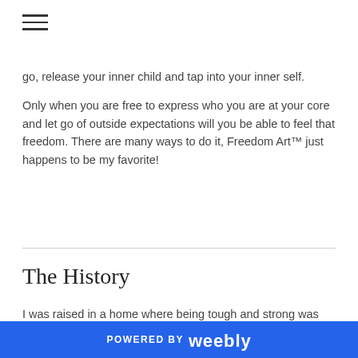[Figure (other): Hamburger menu icon (three horizontal lines)]
go, release your inner child and tap into your inner self.
Only when you are free to express who you are at your core and let go of outside expectations will you be able to feel that freedom. There are many ways to do it, Freedom Art™ just happens to be my favorite!
The History
I was raised in a home where being tough and strong was revered.  My parents pushed forward, working and striving for success and there was no time for weakness or crying. I was an only child and looking back I can see that I was sensitive
POWERED BY weebly